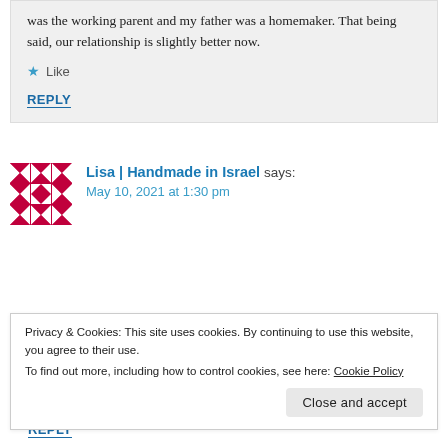was the working parent and my father was a homemaker. That being said, our relationship is slightly better now.
★ Like
REPLY
Lisa | Handmade in Israel says: May 10, 2021 at 1:30 pm
Privacy & Cookies: This site uses cookies. By continuing to use this website, you agree to their use. To find out more, including how to control cookies, see here: Cookie Policy
Close and accept
REPLY